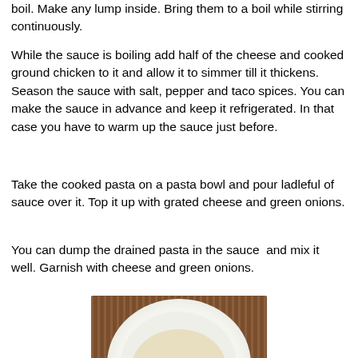boil. Make any lump inside. Bring them to a boil while stirring continuously.
While the sauce is boiling add half of the cheese and cooked ground chicken to it and allow it to simmer till it thickens. Season the sauce with salt, pepper and taco spices. You can make the sauce in advance and keep it refrigerated. In that case you have to warm up the sauce just before.
Take the cooked pasta on a pasta bowl and pour ladleful of sauce over it. Top it up with grated cheese and green onions.
You can dump the drained pasta in the sauce  and mix it well. Garnish with cheese and green onions.
[Figure (photo): A white decorative plate with cooked pasta topped with shredded cheese and chopped green onions, placed on a bamboo mat. Watermark reads BongCook.]